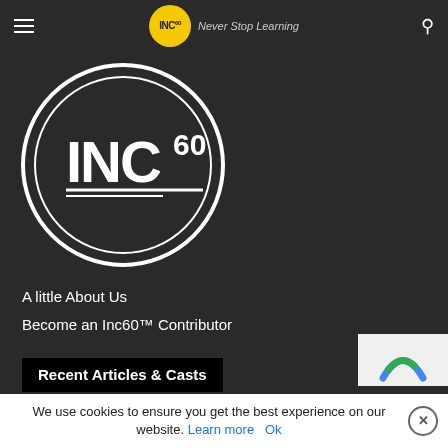INC60 — Never Stop Learning
[Figure (logo): INC60 logo: large circle with double ring outline on dark background, bold white text INC60 with underline beneath]
A little About Us
Become an Inc60™ Contributor
Recent Articles & Casts
We use cookies to ensure you get the best experience on our website. Learn more  Ok